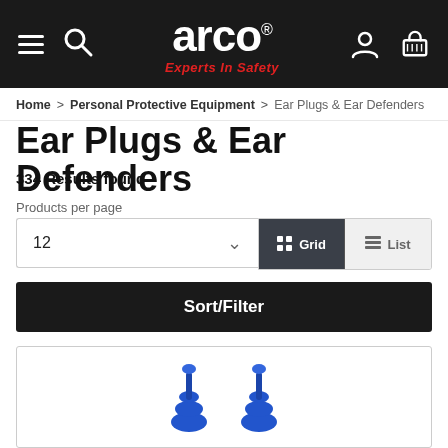[Figure (logo): Arco 'Experts in Safety' website header with hamburger menu, search icon, Arco logo, user icon, and basket icon on dark background]
Home > Personal Protective Equipment > Ear Plugs & Ear Defenders
Ear Plugs & Ear Defenders
334 Results found
Products per page
12
Grid
List
Sort/Filter
[Figure (photo): Blue ear plugs product image at bottom of page]